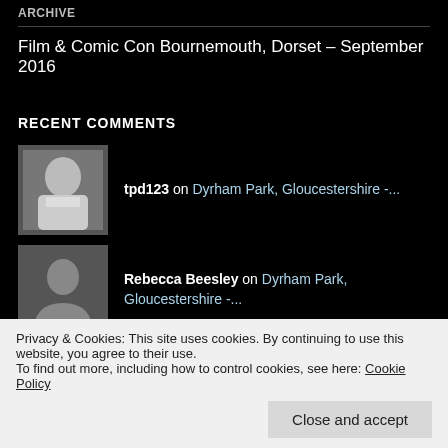ARCHIVE
Film & Comic Con Bournemouth, Dorset – September 2016
RECENT COMMENTS
tpd123 on Dyrham Park, Gloucestershire -...
Rebecca Beesley on Dyrham Park, Gloucestershire -...
Rebecca Beesley on Winner announced- Christmas co...
Privacy & Cookies: This site uses cookies. By continuing to use this website, you agree to their use. To find out more, including how to control cookies, see here: Cookie Policy
Close and accept